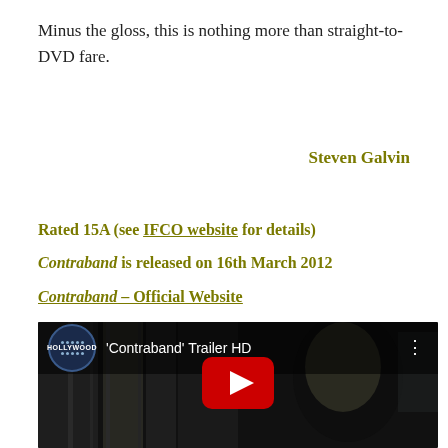Minus the gloss, this is nothing more than straight-to-DVD fare.
Steven Galvin
Rated 15A (see IFCO website for details)
Contraband is released on 16th March 2012
Contraband – Official Website
[Figure (screenshot): Embedded YouTube video thumbnail showing 'Contraband' Trailer HD with Hollywood.com logo, a dark cinematic still of a man's face, and a red YouTube play button in the center]